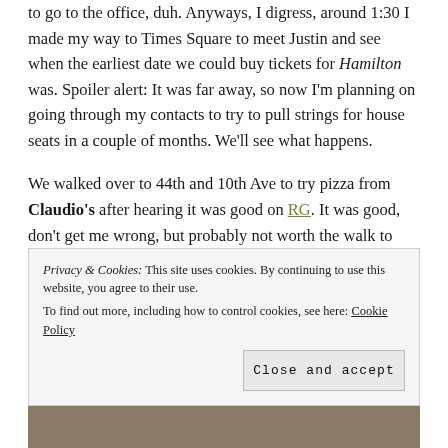to go to the office, duh. Anyways, I digress, around 1:30 I made my way to Times Square to meet Justin and see when the earliest date we could buy tickets for Hamilton was. Spoiler alert: It was far away, so now I'm planning on going through my contacts to try to pull strings for house seats in a couple of months. We'll see what happens.
We walked over to 44th and 10th Ave to try pizza from Claudio's after hearing it was good on RG. It was good, don't get me wrong, but probably not worth the walk to 10th Avenue to Times Square. Still: good to check it off
Privacy & Cookies: This site uses cookies. By continuing to use this website, you agree to their use. To find out more, including how to control cookies, see here: Cookie Policy
Close and accept